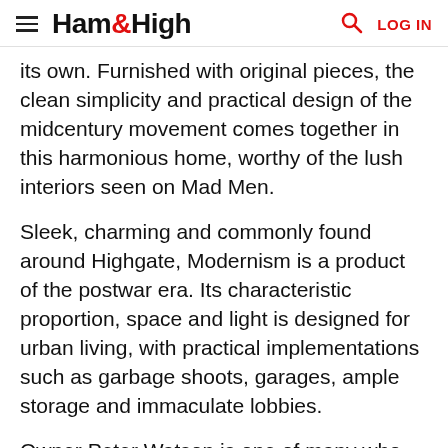Ham&High — LOG IN
its own. Furnished with original pieces, the clean simplicity and practical design of the midcentury movement comes together in this harmonious home, worthy of the lush interiors seen on Mad Men.
Sleek, charming and commonly found around Highgate, Modernism is a product of the postwar era. Its characteristic proportion, space and light is designed for urban living, with practical implementations such as garbage shoots, garages, ample storage and immaculate lobbies.
Owner Peter Watson is one of many who has been charmed by the clean lines and soft curves of Modernism. A mid-century architecture and design enthusiast, he has been collecting furniture, objects and paintings of the era for over 15 years. Reluctant to